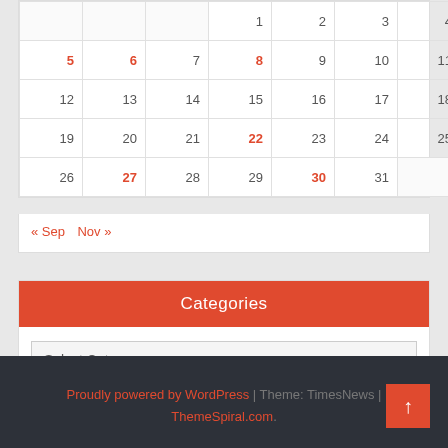|  |  |  |  |  |  |  |
| --- | --- | --- | --- | --- | --- | --- |
|  |  |  | 1 | 2 | 3 | 4 |
| 5 | 6 | 7 | 8 | 9 | 10 | 11 |
| 12 | 13 | 14 | 15 | 16 | 17 | 18 |
| 19 | 20 | 21 | 22 | 23 | 24 | 25 |
| 26 | 27 | 28 | 29 | 30 | 31 |  |
« Sep   Nov »
Categories
Select Category
Proudly powered by WordPress | Theme: TimesNews | ThemeSpiral.com.